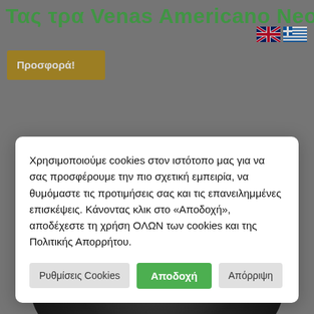Τας τρα Venas Americano Neo
[Figure (illustration): UK flag and Greek flag icons for language selection]
Προσφορά!
Χρησιμοποιούμε cookies στον ιστότοπο μας για να σας προσφέρουμε την πιο σχετική εμπειρία, να θυμόμαστε τις προτιμήσεις σας και τις επανειλημμένες επισκέψεις. Κάνοντας κλικ στο «Αποδοχή», αποδέχεστε τη χρήση ΟΛΩΝ των cookies και της Πολιτικής Απορρήτου.
Ρυθμίσεις Cookies
Αποδοχή
Απόρριψη
[Figure (photo): Dark black disc-shaped product (coffee capsule or similar) partially visible at bottom of page]